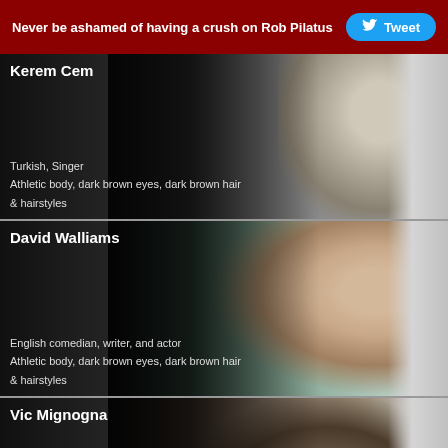Never be ashamed of having a crush on Rob Pilatus  Tweet
Kerem Cem
Turkish, Singer
Athletic body, dark brown eyes, dark brown hair & hairstyles
[Figure (photo): Photo of Kerem Cem, a Turkish singer, smiling in a white shirt]
David Walliams
English comedian, writer, and actor
Athletic body, dark brown eyes, dark brown hair & hairstyles
[Figure (photo): Photo of David Walliams shirtless on a beach with a woman in a black bikini]
Vic Mignogna
American voice actor, singer
Athletic body, blonde hair & hairstyles
[Figure (photo): Photo of Vic Mignogna with tousled brown hair]